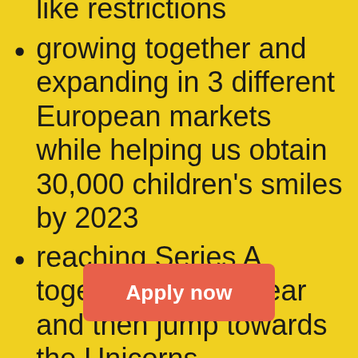like restrictions
growing together and expanding in 3 different European markets while helping us obtain 30,000 children's smiles by 2023
reaching Series A together by next year and then jump towards the Unicorns
an extremely warm, open, young and motivated team
having an unlimited influence